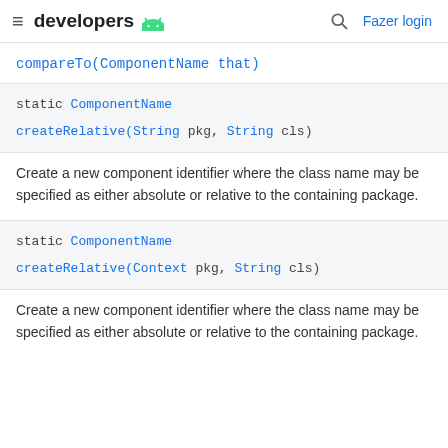developers [android logo] | [search] Fazer login
compareTo(ComponentName that)
static ComponentName
createRelative(String pkg, String cls)
Create a new component identifier where the class name may be specified as either absolute or relative to the containing package.
static ComponentName
createRelative(Context pkg, String cls)
Create a new component identifier where the class name may be specified as either absolute or relative to the containing package.